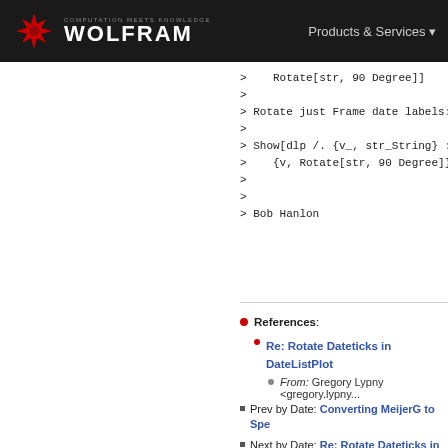WOLFRAM - COMPUTATION MEETS KNOWLEDGE - Products & Services
> Rotate[str, 90 Degree]]
>
> Rotate just Frame date labels:
>
> Show[dlp /. {v_, str_String} :>
>     {v, Rotate[str, 90 Degree]}]
>
>
> Bob Hanlon
References: Re: Rotate Dateticks in DateListPlot - From: Gregory Lypny <gregory.lypny...
Prev by Date: Converting MeijerG to Spe...
Next by Date: Re: Rotate Dateticks in Dat...
Previous by thread: Re: Rotate Dateticks ...
Next by thread: Re: Rotate Dateticks in D...